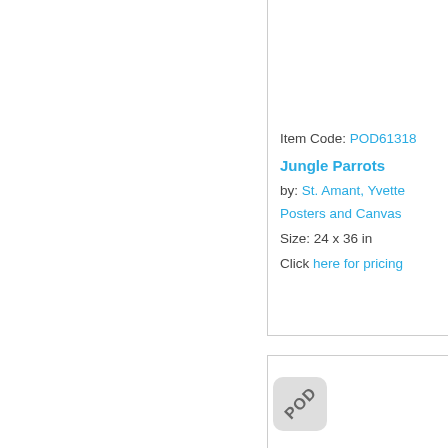[Figure (other): Product thumbnail image area (top left, white/blank)]
Item Code: POD61318
Jungle Parrots
by: St. Amant, Yvette
Posters and Canvas
Size: 24 x 36 in
Click here for pricing
[Figure (other): Second product thumbnail area with POD badge overlay (bottom section)]